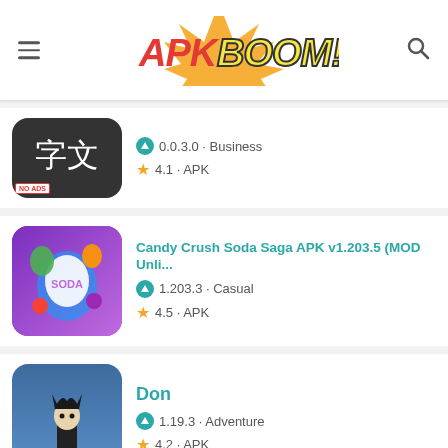[Figure (logo): APKBoom website header with logo, hamburger menu icon, and search icon]
0.0.3.0 · Business | 4.1 · APK (with NO ADS badge, kanji app icon)
Candy Crush Soda Saga APK v1.203.5 (MOD Unli... | 1.203.3 · Casual | 4.5 · APK
Don | 1.19.3 · Adventure | 4.2 · APK
Weather Live v6.5 build 155 (Premium) | Varies with device · Weather | 4.4 · APK